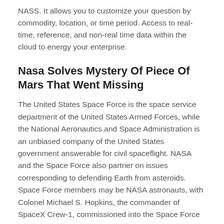NASS. It allows you to customize your question by commodity, location, or time period. Access to real-time, reference, and non-real time data within the cloud to energy your enterprise.
Nasa Solves Mystery Of Piece Of Mars That Went Missing
The United States Space Force is the space service department of the United States Armed Forces, while the National Aeronautics and Space Administration is an unbiased company of the United States government answerable for civil spaceflight. NASA and the Space Force also partner on issues corresponding to defending Earth from asteroids. Space Force members may be NASA astronauts, with Colonel Michael S. Hopkins, the commander of SpaceX Crew-1, commissioned into the Space Force from the International Space Station on 18 December 2020. In September 2020, the Space Force and NASA signed a